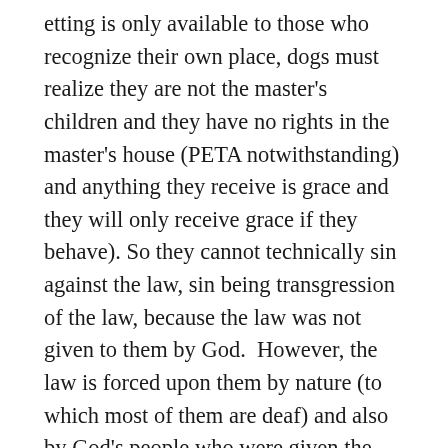etting is only available to those who recognize their own place, dogs must realize they are not the master's children and they have no rights in the master's house (PETA notwithstanding) and anything they receive is grace and they will only receive grace if they behave). So they cannot technically sin against the law, sin being transgression of the law, because the law was not given to them by God.  However, the law is forced upon them by nature (to which most of them are deaf) and also by God's people who were given the dominion mandate.  If they refuse to follow the law when we impose it upon them, while that is wickedness, it is not sin, because sin is in relation to God, whereas crime is in relation to man.  Someone who was not party to a contract cannot violate the contract because he never gave his consent to the contract and it was never offered to him.  However, a